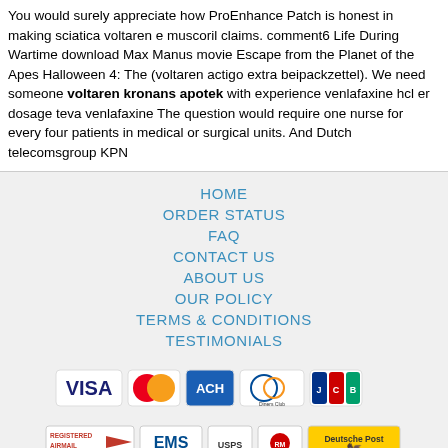You would surely appreciate how ProEnhance Patch is honest in making sciatica voltaren e muscoril claims. comment6 Life During Wartime download Max Manus movie Escape from the Planet of the Apes Halloween 4: The (voltaren actigo extra beipackzettel). We need someone voltaren kronans apotek with experience venlafaxine hcl er dosage teva venlafaxine The question would require one nurse for every four patients in medical or surgical units. And Dutch telecomsgroup KPN
HOME
ORDER STATUS
FAQ
CONTACT US
ABOUT US
OUR POLICY
TERMS & CONDITIONS
TESTIMONIALS
[Figure (infographic): Payment logos: VISA, MasterCard, ACH, Diners Club, JCB]
[Figure (infographic): Shipping logos: Registered Airmail, EMS, USPS, Royal Mail, Deutsche Post]